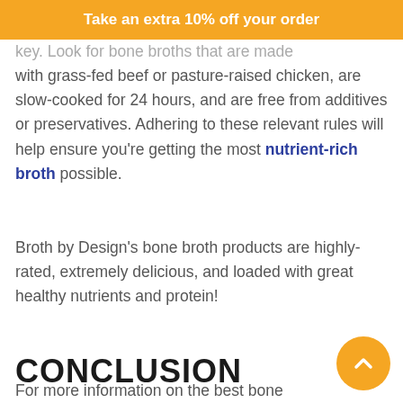Take an extra 10% off your order
key. Look for bone broths that are made with grass-fed beef or pasture-raised chicken, are slow-cooked for 24 hours, and are free from additives or preservatives. Adhering to these relevant rules will help ensure you're getting the most nutrient-rich broth possible.
Broth by Design's bone broth products are highly-rated, extremely delicious, and loaded with great healthy nutrients and protein!
CONCLUSION
For more information on the best bone